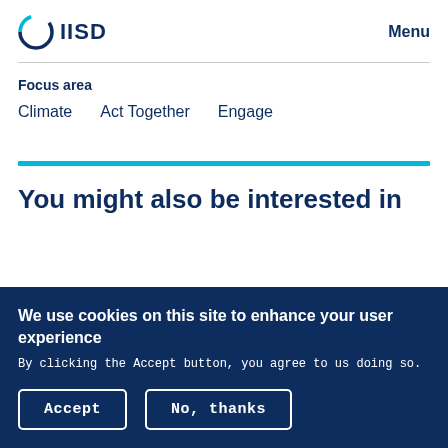[Figure (logo): IISD logo with circular arrow icon and bold text 'IISD']
Menu
Focus area
Climate   Act Together   Engage
You might also be interested in
We use cookies on this site to enhance your user experience
By clicking the Accept button, you agree to us doing so.
Accept
No, thanks